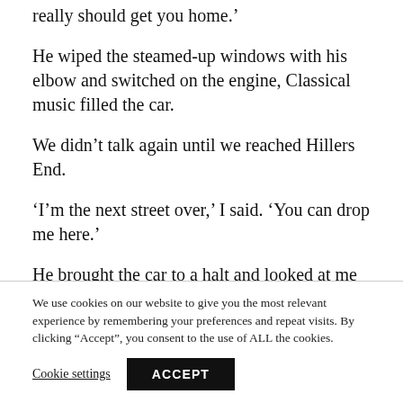really should get you home.'
He wiped the steamed-up windows with his elbow and switched on the engine, Classical music filled the car.
We didn’t talk again until we reached Hillers End.
‘I’m the next street over,’ I said. ‘You can drop me here.’
He brought the car to a halt and looked at me with his deep-set grey eyes.
We use cookies on our website to give you the most relevant experience by remembering your preferences and repeat visits. By clicking “Accept”, you consent to the use of ALL the cookies.
Cookie settings
ACCEPT